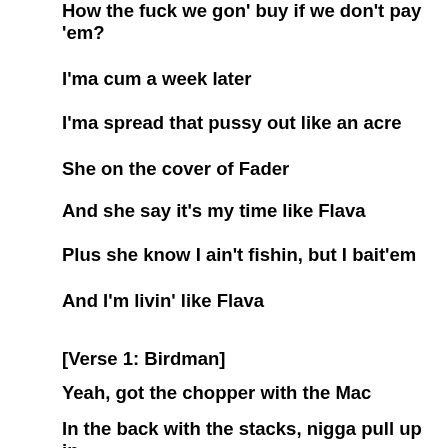How the fuck we gon' buy if we don't pay 'em?
I'ma cum a week later
I'ma spread that pussy out like an acre
She on the cover of Fader
And she say it's my time like Flava
Plus she know I ain't fishin, but I bait'em
And I'm livin' like Flava
[Verse 1: Birdman]
Yeah, got the chopper with the Mac
In the back with the stacks, nigga pull up in a new car